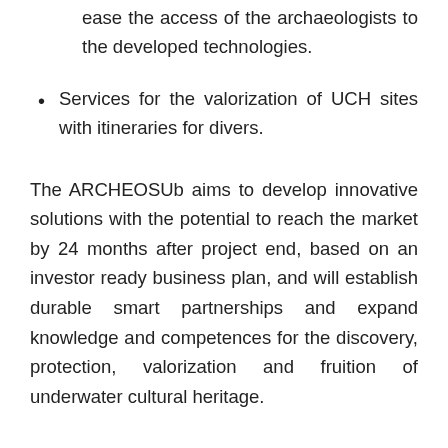ease the access of the archaeologists to the developed technologies.
Services for the valorization of UCH sites with itineraries for divers.
The ARCHEOSUb aims to develop innovative solutions with the potential to reach the market by 24 months after project end, based on an investor ready business plan, and will establish durable smart partnerships and expand knowledge and competences for the discovery, protection, valorization and fruition of underwater cultural heritage.
The project aims to bring a number of key results of